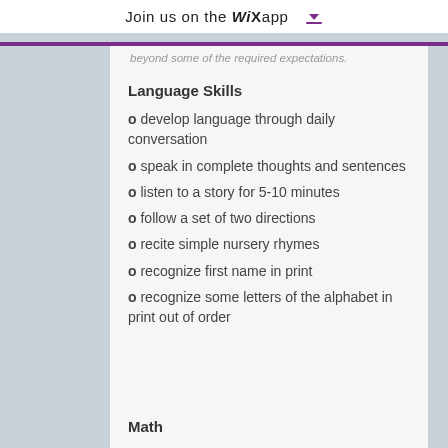Join us on the WiX app ↓
beyond some of the required expectations.
Language Skills
o develop language through daily conversation
o speak in complete thoughts and sentences
o listen to a story for 5-10 minutes
o follow a set of two directions
o recite simple nursery rhymes
o recognize first name in print
o recognize some letters of the alphabet in print out of order
Math